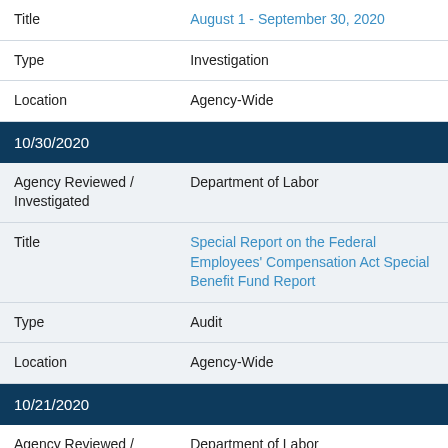| Title | August 1 - September 30, 2020 |
| Type | Investigation |
| Location | Agency-Wide |
| 10/30/2020 |  |
| Agency Reviewed / Investigated | Department of Labor |
| Title | Special Report on the Federal Employees' Compensation Act Special Benefit Fund Report |
| Type | Audit |
| Location | Agency-Wide |
| 10/21/2020 |  |
| Agency Reviewed / Investigated | Department of Labor |
| Title | COVID-19: States Cite Vulnerabilities in Detecting Fraud While Complying with the CARES Act UI Program Self-Certification Requirement |